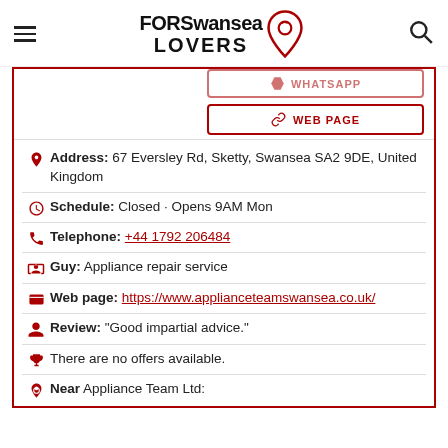FORSwansea LOVERS
WEB PAGE
Address: 67 Eversley Rd, Sketty, Swansea SA2 9DE, United Kingdom
Schedule: Closed · Opens 9AM Mon
Telephone: +44 1792 206484
Guy: Appliance repair service
Web page: https://www.applianceteamswansea.co.uk/
Review: "Good impartial advice."
There are no offers available.
Near Appliance Team Ltd: